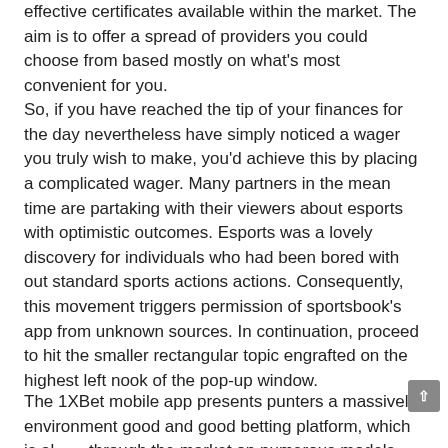effective certificates available within the market. The aim is to offer a spread of providers you could choose from based mostly on what's most convenient for you.
So, if you have reached the tip of your finances for the day nevertheless have simply noticed a wager you truly wish to make, you'd achieve this by placing a complicated wager. Many partners in the mean time are partaking with their viewers about esports with optimistic outcomes. Esports was a lovely discovery for individuals who had been bored with out standard sports actions actions. Consequently, this movement triggers permission of sportsbook's app from unknown sources. In continuation, proceed to hit the smaller rectangular topic engrafted on the highest left nook of the pop-up window.
The 1XBet mobile app presents punters a massively environment good and good betting platform, which is all through the market on numerous models. We moreover